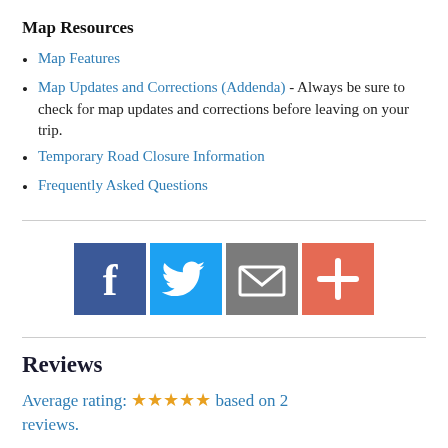Map Resources
Map Features
Map Updates and Corrections (Addenda) - Always be sure to check for map updates and corrections before leaving on your trip.
Temporary Road Closure Information
Frequently Asked Questions
[Figure (infographic): Social sharing buttons: Facebook (dark blue), Twitter (light blue), Email (gray), More/Plus (coral red)]
Reviews
Average rating: ★★★★★ based on 2 reviews.